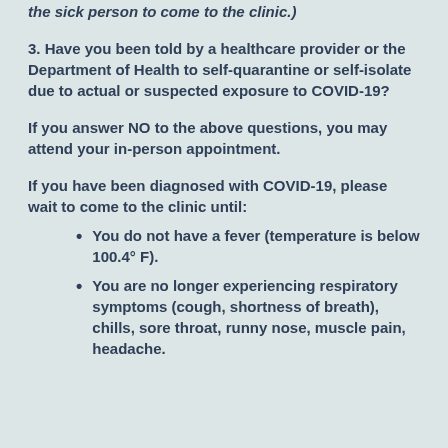the sick person to come to the clinic.)
3. Have you been told by a healthcare provider or the Department of Health to self-quarantine or self-isolate due to actual or suspected exposure to COVID-19?
If you answer NO to the above questions, you may attend your in-person appointment.
If you have been diagnosed with COVID-19, please wait to come to the clinic until:
You do not have a fever (temperature is below 100.4° F).
You are no longer experiencing respiratory symptoms (cough, shortness of breath), chills, sore throat, runny nose, muscle pain, headache.